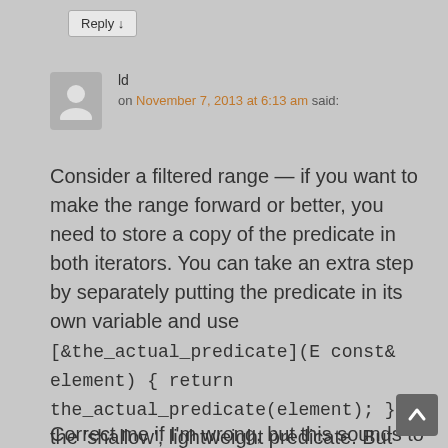Reply ↓
ld
on November 7, 2013 at 6:13 am said:
Consider a filtered range — if you want to make the range forward or better, you need to store a copy of the predicate in both iterators. You can take an extra step by separately putting the predicate in its own variable and use [&the_actual_predicate](E const& element) { return the_actual_predicate(element); } as the 'shallow', lightweight predicate. But then you can't return the result because it cannot live separate from the actual predicate.
Correct me if I'm wrong, but this sounds to be